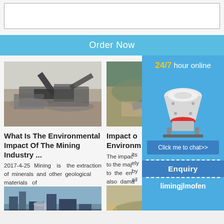[Figure (screenshot): White textarea input box at the top of the page]
Order Now
[Figure (photo): Mining equipment/conveyor belt on a mining site (black and white tones)]
What Is The Environmental Impact Of The Mining Industry ...
2017-4-25 Mining is the extraction of minerals and other geological materials of
[Figure (photo): Industrial plant with tall structures and pipes]
[Figure (photo): Mining excavation site (right column, partially obscured)]
Impact o Environm
The impac to the maj to the en also dama
its ely by ail
[Figure (screenshot): Mining equipment promotional sidebar: 24/7 hour online, cone crusher image, Click me to chat>>, Enquiry, limingjlmofen]
24/7 hour online
Click me to chat>>
Enquiry
limingjlmofen